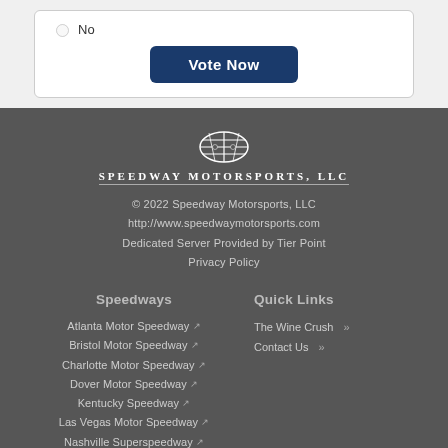No
Vote Now
[Figure (logo): Speedway Motorsports LLC logo — globe/wheel icon above the text SPEEDWAY MOTORSPORTS, LLC]
© 2022 Speedway Motorsports, LLC
http://www.speedwaymotorsports.com
Dedicated Server Provided by Tier Point
Privacy Policy
Speedways
Quick Links
Atlanta Motor Speedway
Bristol Motor Speedway
Charlotte Motor Speedway
Dover Motor Speedway
Kentucky Speedway
Las Vegas Motor Speedway
Nashville Superspeedway
The Wine Crush »
Contact Us »